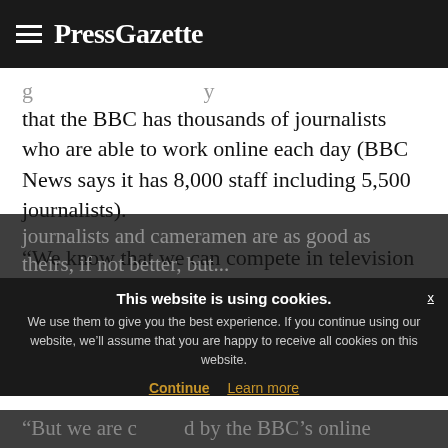≡ PressGazette
that the BBC has thousands of journalists who are able to work online each day (BBC News says it has 8,000 staff including 5,500 journalists).
“We know that we can compete in television news – because it’s all about that hour-long programme, or that three minutes of television. We know our
journalists and cameramen are as good as theirs, if not better, but...
This website is using cookies. We use them to give you the best experience. If you continue using our website, we’ll assume that you are happy to receive all cookies on this website.
“But we are challenged by the BBC’s online